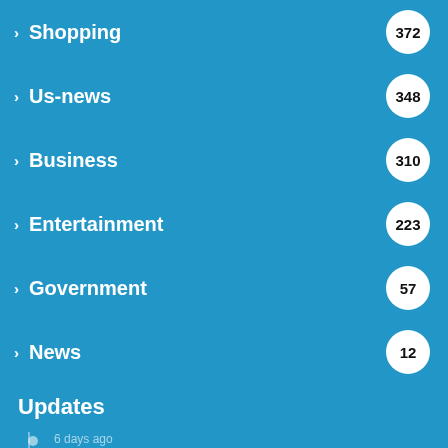Shopping 372
Us-news 348
Business 310
Entertainment 223
Government 57
News 12
Updates
6 days ago
The Perfect Thermostat Temperature: Save Money While Staying Cool This Summer
2 weeks ago
Trump vs the FBI: ‘It is just perpetual chaos’
2 weeks ago
City sign left-back Gomez from Anderlecht
July 2, 2022